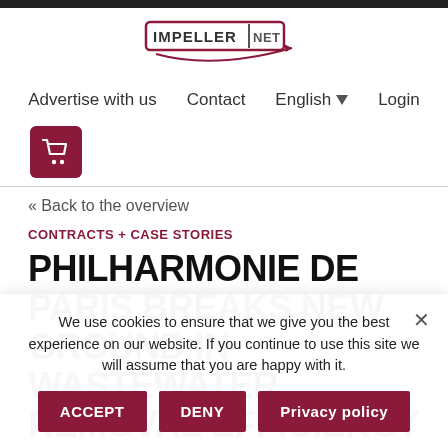[Figure (logo): Impeller.net logo — text IMPELLER|NET in a bordered box with a swoosh arc beneath]
Advertise with us   Contact   English ▼   Login
[Figure (illustration): Shopping cart icon in dark red/maroon square button]
« Back to the overview
CONTRACTS + CASE STORIES
PHILHARMONIE DE PARIS BREAKS NEW GROUND IN WASTEWATER REMOVAL EFFICIENCY
We use cookies to ensure that we give you the best experience on our website. If you continue to use this site we will assume that you are happy with it.
ACCEPT   DENY   Privacy policy